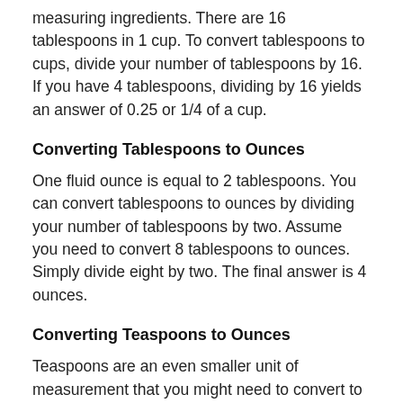measuring ingredients. There are 16 tablespoons in 1 cup. To convert tablespoons to cups, divide your number of tablespoons by 16. If you have 4 tablespoons, dividing by 16 yields an answer of 0.25 or 1/4 of a cup.
Converting Tablespoons to Ounces
One fluid ounce is equal to 2 tablespoons. You can convert tablespoons to ounces by dividing your number of tablespoons by two. Assume you need to convert 8 tablespoons to ounces. Simply divide eight by two. The final answer is 4 ounces.
Converting Teaspoons to Ounces
Teaspoons are an even smaller unit of measurement that you might need to convert to ounces. There are 6 teaspoons in a fluid ounce. You will divide your number of teaspoons by six to calculate how many